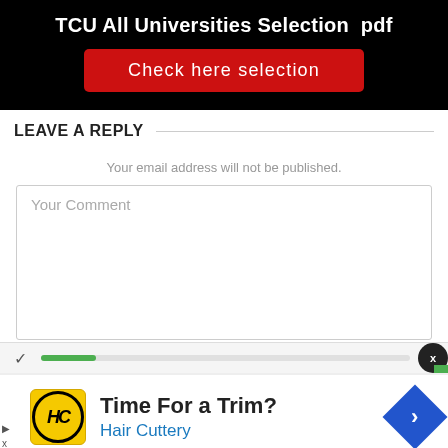TCU All Universities Selection  pdf
[Figure (screenshot): Red button labeled 'Check here selection']
LEAVE A REPLY
Your email address will not be published.
[Figure (screenshot): Comment text area with placeholder 'Your Comment']
[Figure (screenshot): Advertisement: Time For a Trim? Hair Cuttery with logo and navigation arrow]
Time For a Trim?
Hair Cuttery